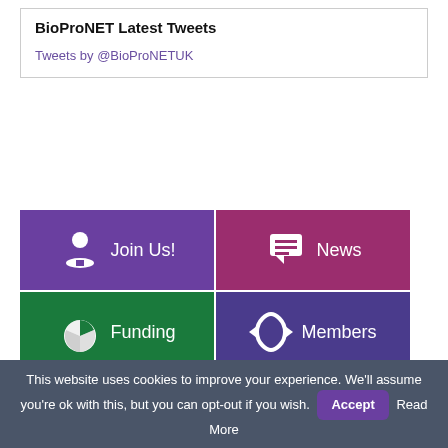BioProNET Latest Tweets
Tweets by @BioProNETUK
[Figure (infographic): Navigation grid with 5 colored tiles: Join Us! (purple), News (crimson), Funding (green), Members (indigo), Contact (slate)]
This website uses cookies to improve your experience. We'll assume you're ok with this, but you can opt-out if you wish. Accept Read More